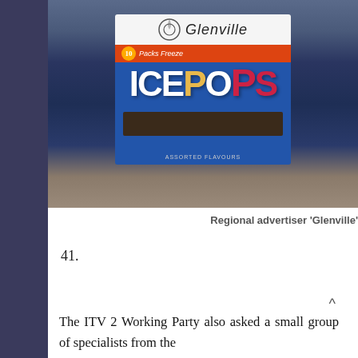[Figure (photo): A person holding a box of Glenville Ice Pops (10 packs, freeze). The box is blue with white and red lettering showing 'ICE POPS' in large text, with a Glenville logo at the top.]
Regional advertiser 'Glenville'
41.
The ITV 2 Working Party also asked a small group of specialists from the